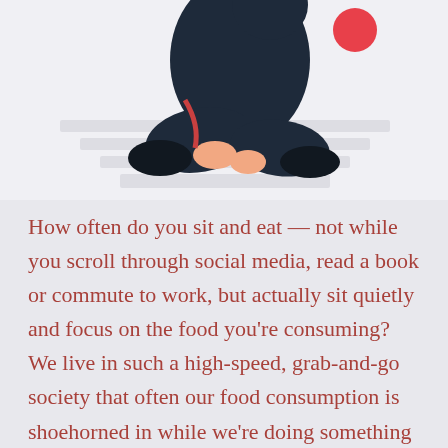[Figure (illustration): Illustration of a person in dark clothing crouching or sitting cross-legged, with a red circle element, on a light background with horizontal stripes suggesting a surface or stairs. Only the lower body portion and hands are visible, cropped at the top of the page.]
How often do you sit and eat — not while you scroll through social media, read a book or commute to work, but actually sit quietly and focus on the food you're consuming? We live in such a high-speed, grab-and-go society that often our food consumption is shoehorned in while we're doing something else. Your [...]